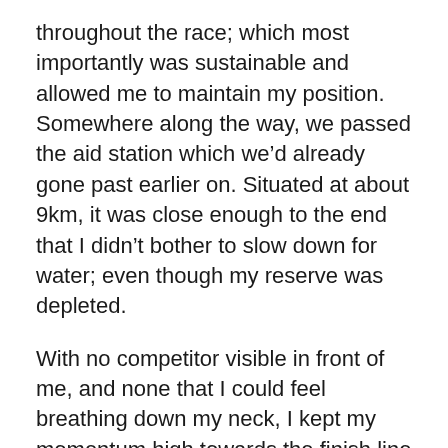throughout the race; which most importantly was sustainable and allowed me to maintain my position. Somewhere along the way, we passed the aid station which we'd already gone past earlier on. Situated at about 9km, it was close enough to the end that I didn't bother to slow down for water; even though my reserve was depleted.
With no competitor visible in front of me, and none that I could feel breathing down my neck, I kept my momentum high towards the finish line but didn't have to do an outright sprint. This was fortunate, because I was spent and working very much at my limit.
I crossed the finish line after 45:24 (chip time), then ran another 50m so 10km would tick over on my